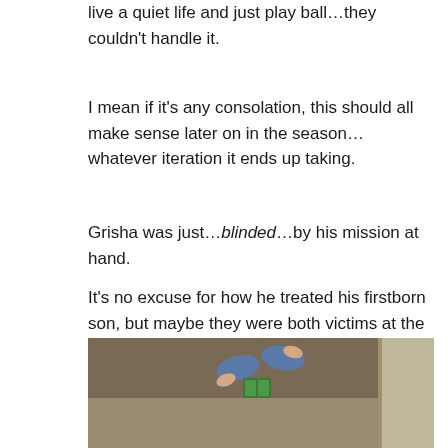When the tool wouldn't work, and wanted to instead live a quiet life and just play ball…they couldn't handle it.
I mean if it's any consolation, this should all make sense later on in the season…whatever iteration it ends up taking.
Grisha was just…blinded…by his mission at hand.
It's no excuse for how he treated his firstborn son, but maybe they were both victims at the end of the day.
[Figure (photo): Anime screenshot showing a character lying on the ground, legs visible with blue pants, holding what appears to be a book or object, on a dirt/sandy surface near a wall or structure.]